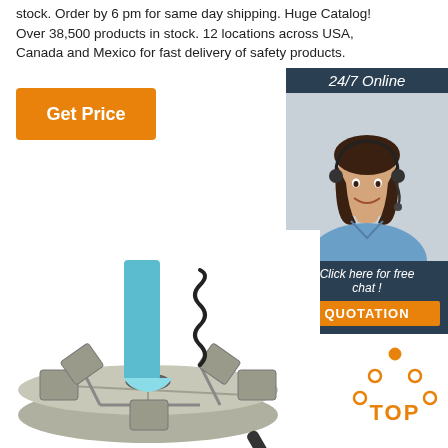stock. Order by 6 pm for same day shipping. Huge Catalog! Over 38,500 products in stock. 12 locations across USA, Canada and Mexico for fast delivery of safety products.
[Figure (other): Orange 'Get Price' button]
[Figure (other): 24/7 Online chat widget with customer service representative photo and 'Click here for free chat!' text, QUOTATION orange button]
[Figure (logo): BEC logo with CE, certification and dollar badge icons]
[Figure (photo): Metallic industrial chuck/lathe part with blue cylinder and spring]
[Figure (other): TOP icon with orange dot-triangle and text]